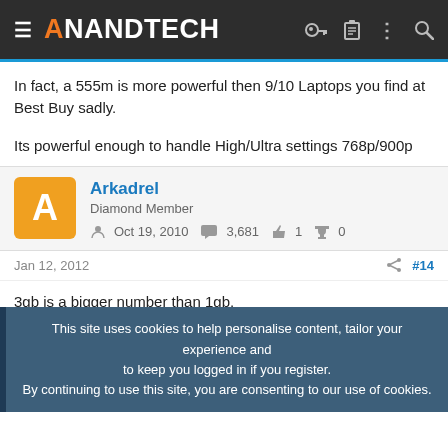AnandTech
In fact, a 555m is more powerful then 9/10 Laptops you find at Best Buy sadly.

Its powerful enough to handle High/Ultra settings 768p/900p
Arkadrel
Diamond Member
Oct 19, 2010   3,681   1   0
Jan 12, 2012   #14
3gb is a bigger number than 1gb.
This site uses cookies to help personalise content, tailor your experience and to keep you logged in if you register.
By continuing to use this site, you are consenting to our use of cookies.